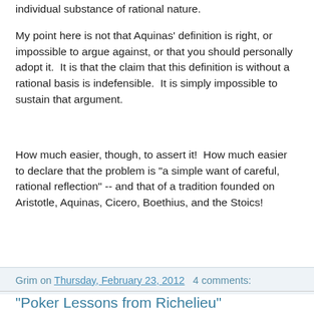individual substance of rational nature.
My point here is not that Aquinas' definition is right, or impossible to argue against, or that you should personally adopt it.  It is that the claim that this definition is without a rational basis is indefensible.  It is simply impossible to sustain that argument.
How much easier, though, to assert it!  How much easier to declare that the problem is "a simple want of careful, rational reflection" -- and that of a tradition founded on Aristotle, Aquinas, Cicero, Boethius, and the Stoics!
Grim on Thursday, February 23, 2012   4 comments:
"Poker Lessons from Richelieu"
Such is the title of this book review, which makes the case that the famous Cardinal was marked more by a gambler's sentiment than a manipulator's.  Since we were just talking